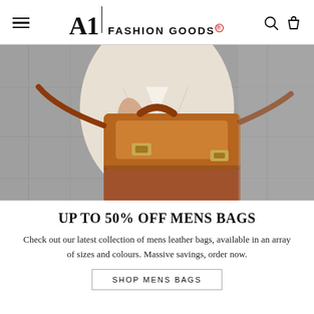A1 FASHION GOODS®
[Figure (photo): Person holding a tan/brown leather messenger bag with gold buckles, wearing a cream jacket and blue jeans, standing against a grey concrete wall.]
UP TO 50% OFF MENS BAGS
Check out our latest collection of mens leather bags, available in an array of sizes and colours. Massive savings, order now.
SHOP MENS BAGS